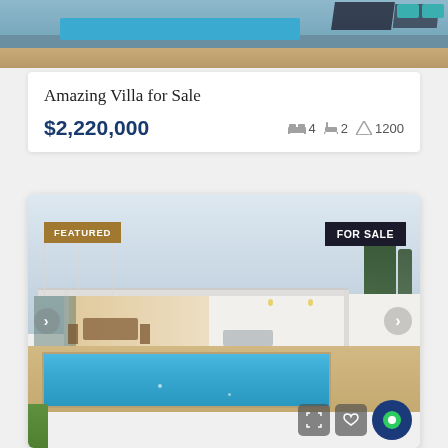[Figure (photo): Top portion of a property photo showing outdoor pool area with dark lounge chairs, viewed from above]
Amazing Villa for Sale
$2,220,000  🛏 4  🚿 2  📐 1200
[Figure (photo): Featured modern villa for sale: exterior photo showing white single-story house with pergola/canopy over patio, outdoor dining and seating, large swimming pool, green trees, and manicured lawn. Badges: FEATURED (gold, top left), FOR SALE (dark, top right). Navigation arrows on sides. Action icons bottom right.]